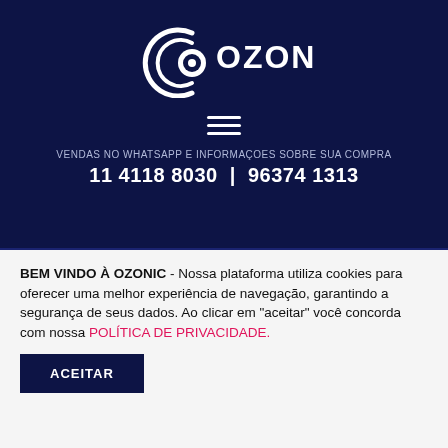[Figure (logo): Ozonic brand logo — circular arc icon with letter C and O, followed by OZONIC text in white on dark navy background]
[Figure (other): Hamburger menu icon (three horizontal white lines)]
VENDAS NO WHATSAPP E INFORMAÇOES SOBRE SUA COMPRA
11 4118 8030  |  96374 1313
BEM VINDO À OZONIC - Nossa plataforma utiliza cookies para oferecer uma melhor experiência de navegação, garantindo a segurança de seus dados. Ao clicar em "aceitar" você concorda com nossa POLÍTICA DE PRIVACIDADE.
ACEITAR